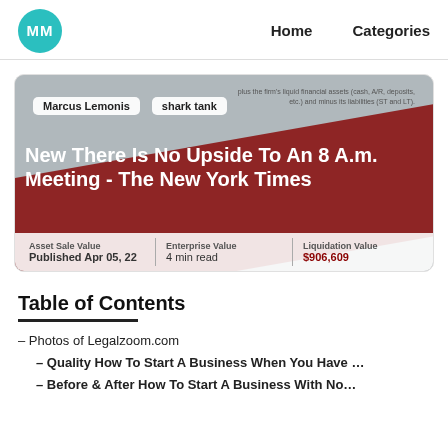MM  Home  Categories
[Figure (screenshot): Article thumbnail showing a valuation chart background with tags 'Marcus Lemonis' and 'shark tank', a dark red diagonal banner overlay, and article title 'New There Is No Upside To An 8 A.m. Meeting - The New York Times'. Bottom bar shows Published Apr 05, 22 | 4 min read, Asset Sale Value, Enterprise Value, Liquidation Value $906,609]
Table of Contents
– Photos of Legalzoom.com
– Quality How To Start A Business When You Have …
– Before & After How To Start A Business With No…